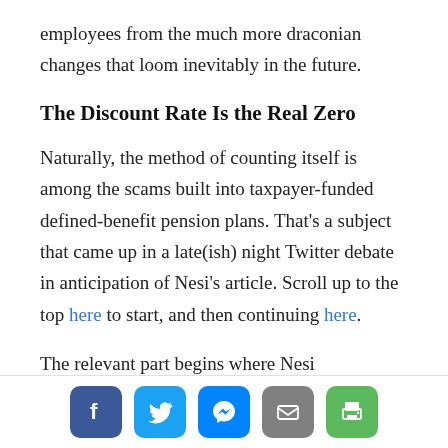employees from the much more draconian changes that loom inevitably in the future.
The Discount Rate Is the Real Zero
Naturally, the method of counting itself is among the scams built into taxpayer-funded defined-benefit pension plans. That’s a subject that came up in a late(ish) night Twitter debate in anticipation of Nesi’s article. Scroll up to the top here to start, and then continuing here.
The relevant part begins where Nesi